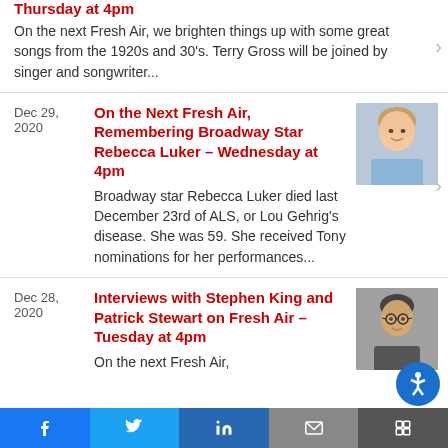Thursday at 4pm
On the next Fresh Air, we brighten things up with some great songs from the 1920s and 30's. Terry Gross will be joined by singer and songwriter...
Dec 29, 2020
On the Next Fresh Air, Remembering Broadway Star Rebecca Luker – Wednesday at 4pm
Broadway star Rebecca Luker died last December 23rd of ALS, or Lou Gehrig's disease. She was 59. She received Tony nominations for her performances...
[Figure (photo): Headshot of Rebecca Luker, a blonde woman smiling]
Dec 28, 2020
Interviews with Stephen King and Patrick Stewart on Fresh Air – Tuesday at 4pm
On the next Fresh Air,
[Figure (photo): Photo of Stephen King wearing glasses]
f  t  in  [email]  [share]